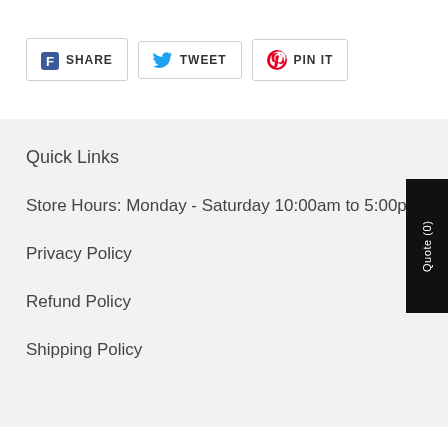SHARE
TWEET
PIN IT
Quick Links
Store Hours: Monday - Saturday 10:00am to 5:00pm
Privacy Policy
Refund Policy
Shipping Policy